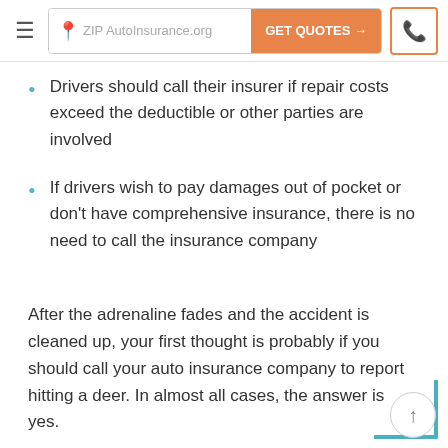ZIP AutoInsurance.org
Drivers should call their insurer if repair costs exceed the deductible or other parties are involved
If drivers wish to pay damages out of pocket or don't have comprehensive insurance, there is no need to call the insurance company
After the adrenaline fades and the accident is cleaned up, your first thought is probably if you should call your auto insurance company to report hitting a deer. In almost all cases, the answer is yes.